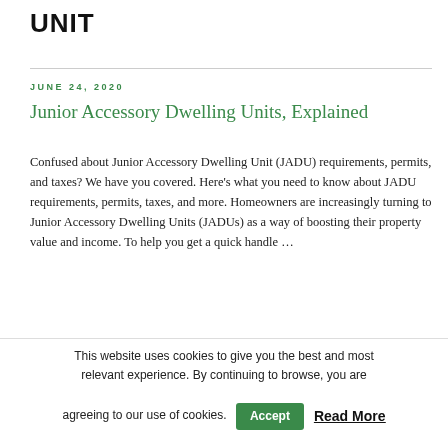UNIT
JUNE 24, 2020
Junior Accessory Dwelling Units, Explained
Confused about Junior Accessory Dwelling Unit (JADU) requirements, permits, and taxes? We have you covered. Here’s what you need to know about JADU requirements, permits, taxes, and more. Homeowners are increasingly turning to Junior Accessory Dwelling Units (JADUs) as a way of boosting their property value and income. To help you get a quick handle …
This website uses cookies to give you the best and most relevant experience. By continuing to browse, you are agreeing to our use of cookies. Accept Read More